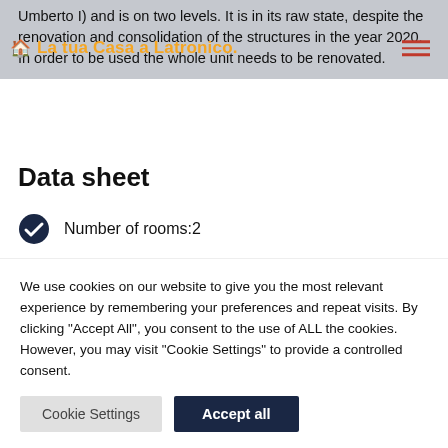Umberto I) and is on two levels. It is in its raw state, despite the renovation and consolidation of the structures in the year 2020. In order to be used the whole unit needs to be renovated.
🏠 La tua Casa a Latronico.
Data sheet
Number of rooms:2
Number of floors: 2
We use cookies on our website to give you the most relevant experience by remembering your preferences and repeat visits. By clicking "Accept All", you consent to the use of ALL the cookies. However, you may visit "Cookie Settings" to provide a controlled consent.